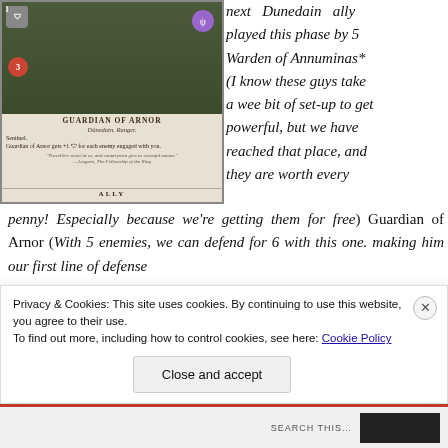[Figure (illustration): Guardian of Arnor card image - a Dunedain Ranger ally card from a card game. Shows a warrior figure in dark tones. Card has stats: cost 1, defense shield, attack 3, willpower symbol. Card text: Sentinel. Guardian of Arnor gets +1 defense for each enemy engaged with you. Quote from Aragorn, The Fellowship of the Ring. Card type: ALLY.]
next Dunedain ally played this phase by 5 Warden of Annuminas* (I know these guys take a wee bit of set-up to get powerful, but we have reached that place, and they are worth every penny! Especially because we're getting them for free) Guardian of Arnor (With 5 enemies, we can defend for 6 with this one. making him our first line of defense
Privacy & Cookies: This site uses cookies. By continuing to use this website, you agree to their use.
To find out more, including how to control cookies, see here: Cookie Policy
Close and accept